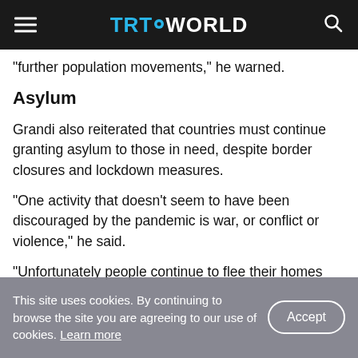TRT WORLD
"further population movements," he warned.
Asylum
Grandi also reiterated that countries must continue granting asylum to those in need, despite border closures and lockdown measures.
"One activity that doesn't seem to have been discouraged by the pandemic is war, or conflict or violence," he said.
"Unfortunately people continue to flee their homes
This site uses cookies. By continuing to browse the site you are agreeing to our use of cookies. Learn more